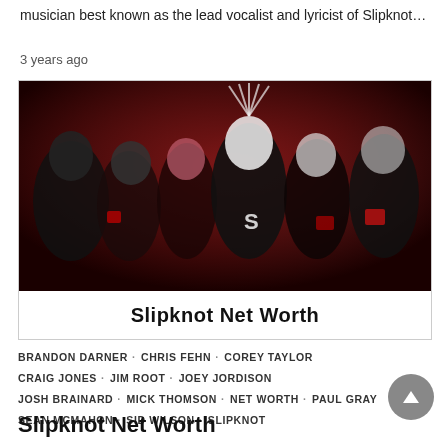musician best known as the lead vocalist and lyricist of Slipknot…
3 years ago
[Figure (photo): Band photo of Slipknot members in masks and dark clothing against a red and grey background, with a white banner beneath reading 'Slipknot Net Worth']
BRANDON DARNER · CHRIS FEHN · COREY TAYLOR
CRAIG JONES · JIM ROOT · JOEY JORDISON
JOSH BRAINARD · MICK THOMSON · NET WORTH · PAUL GRAY
SEAN MCMAHON · SID WILSON · SLIPKNOT
Slipknot Net Worth